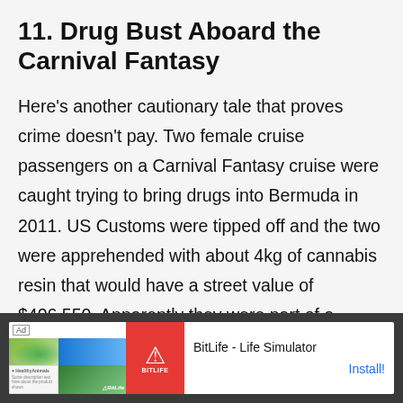11. Drug Bust Aboard the Carnival Fantasy
Here's another cautionary tale that proves crime doesn't pay. Two female cruise passengers on a Carnival Fantasy cruise were caught trying to bring drugs into Bermuda in 2011. US Customs were tipped off and the two were apprehended with about 4kg of cannabis resin that would have a street value of $406,550. Apparently they were part of a smuggling ring and were offered $5000 each to sneak the drugs to Bermuda. Their lawyers [X] d to
[Figure (other): Advertisement banner for BitLife - Life Simulator app, showing app icon images and an Install button]